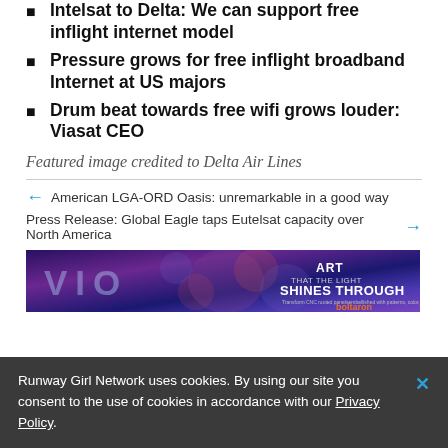Intelsat to Delta: We can support free inflight internet model
Pressure grows for free inflight broadband Internet at US majors
Drum beat towards free wifi grows louder: Viasat CEO
Featured image credited to Delta Air Lines
American LGA-ORD Oasis: unremarkable in a good way
Press Release: Global Eagle taps Eutelsat capacity over North America
[Figure (photo): Advertisement banner for VIO with purple/blue abstract lighting background and Boltaron branding on right side with text: ART THAT THE LIGHT SHINES THROUGH]
Runway Girl Network uses cookies. By using our site you consent to the use of cookies in accordance with our Privacy Policy.